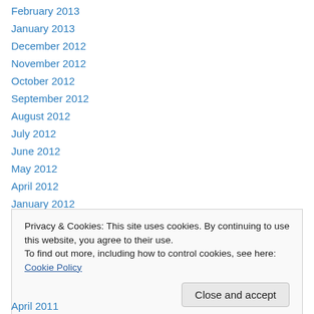February 2013
January 2013
December 2012
November 2012
October 2012
September 2012
August 2012
July 2012
June 2012
May 2012
April 2012
January 2012
December 2011
Privacy & Cookies: This site uses cookies. By continuing to use this website, you agree to their use. To find out more, including how to control cookies, see here: Cookie Policy
April 2011